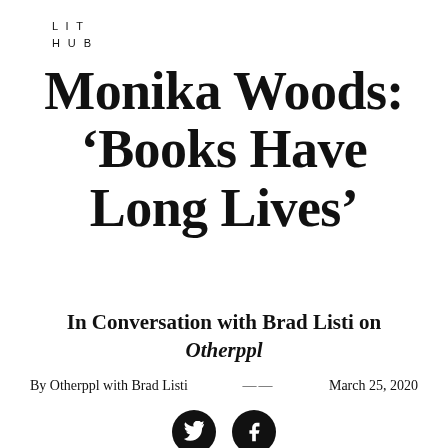LIT HUB
Monika Woods: ‘Books Have Long Lives’
In Conversation with Brad Listi on Otherppl
By Otherppl with Brad Listi — March 25, 2020
[Figure (other): Social media icons: Twitter bird icon and Facebook f icon, both in black circles]